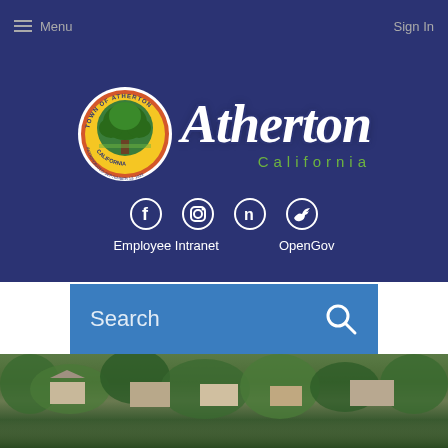Menu | Sign In
[Figure (logo): Town of Atherton California official logo with circular seal showing a tree, and stylized script text 'Atherton California']
[Figure (infographic): Social media icons: Facebook, Instagram, Nextdoor (n), Twitter]
Employee Intranet    OpenGov
Search
[Figure (photo): Aerial photograph of Atherton California neighborhood with houses and trees]